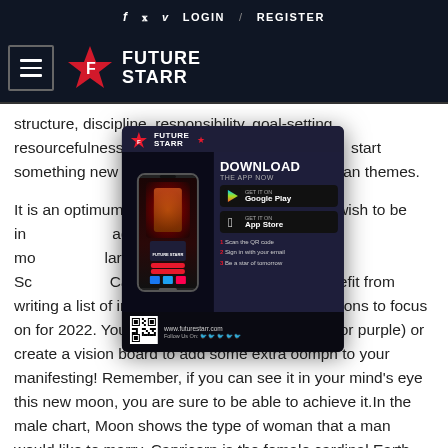f  t  v  LOGIN / REGISTER
[Figure (logo): Future Starr logo with hamburger menu icon on dark navy background]
structure, discipline, responsibility, goal-setting, resourcefulness and ambition. With... start something new that will allow... ornian themes.
[Figure (infographic): Future Starr app download advertisement popup showing phone mockup, Download The App Now text, Google Play and App Store buttons, QR code, and futurestarr.com URL]
It is an optimum t... here and who you wish to be in... advantage of this beautiful new mo... larly special for Taurus, Virgo, Sc... Capricorn. Still, everyone will benefit from writing a list of intentions, resolutions or affirmations to focus on for 2022. You can even light a candle (white or purple) or create a vision board to add some extra oomph to your manifesting! Remember, if you can see it in your mind's eye this new moon, you are sure to be able to achieve it.In the male chart, Moon shows the type of woman that a man would like to marry. Capricorn is the female cardinal Earth element sign. The Capricorn Moon is located under the